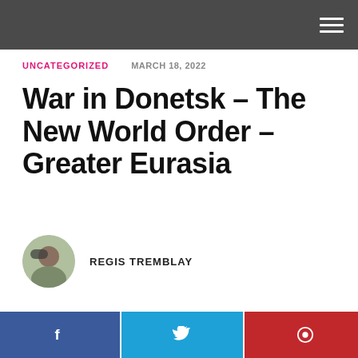UNCATEGORIZED   MARCH 18, 2022
War in Donetsk – The New World Order – Greater Eurasia
REGIS TREMBLAY
[Figure (other): Social share buttons: Facebook, Twitter, Pinterest]